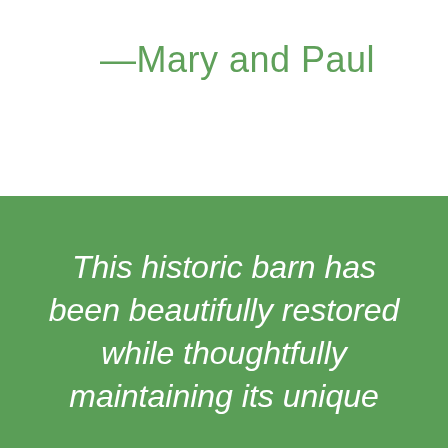—Mary and Paul
This historic barn has been beautifully restored while thoughtfully maintaining its unique